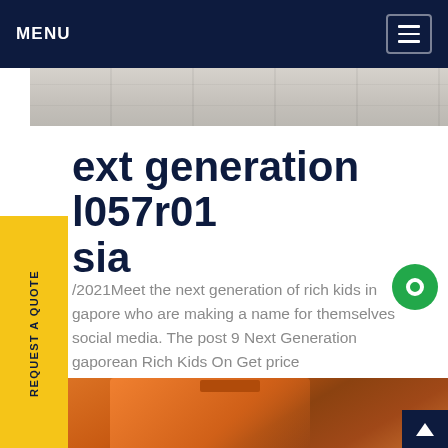MENU
[Figure (photo): Grey concrete surface strip at top of page]
ext generation l057r01 sia
/2021Meet the next generation of rich kids in gapore who are making a name for themselves social media. The post 9 Next Generation gaporean Rich Kids On Get price
[Figure (photo): Orange hard-shell case open on a tiled floor]